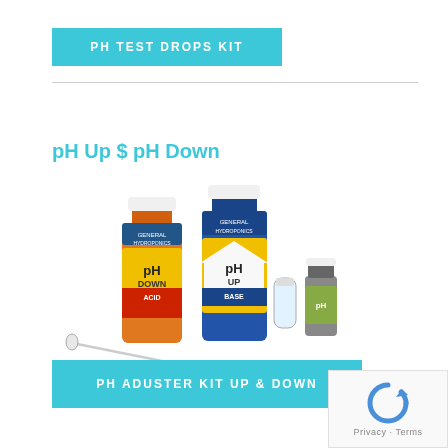PH TEST DROPS KIT
pH Up $ pH Down
[Figure (photo): Product photo showing pH Up and pH Down bottles (General Hydroponics), a small test tube/vial, a dropper pipette, and a small pH indicator liquid bottle arranged together.]
PH ADUSTER KIT UP & DOWN